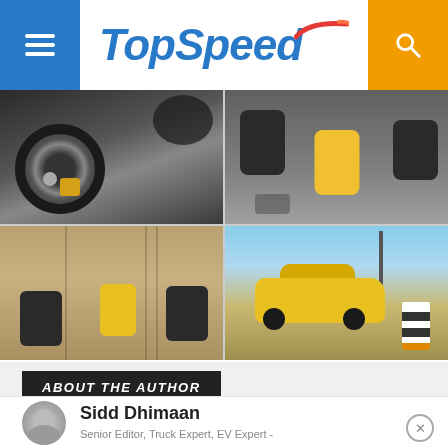TopSpeed
[Figure (photo): Close-up of a car wheel with yellow brake caliper]
[Figure (photo): Aerial overhead view of cars on a road, yellow car in center surrounded by dark cars]
[Figure (photo): Aerial overhead view of three cars on a track, yellow car in middle flanked by dark cars]
[Figure (photo): Side view of a yellow Lamborghini SUV on a highway with a traffic cone in foreground]
ABOUT THE AUTHOR
Sidd Dhimaan
Senior Editor, Truck Expert, EV Expert -